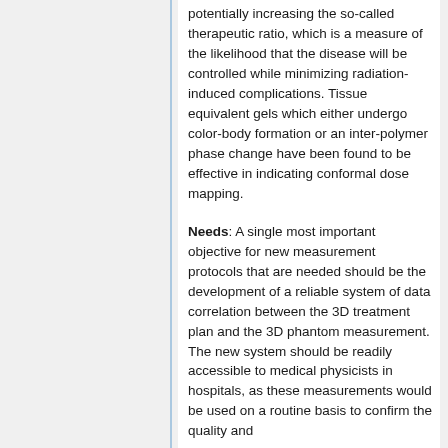potentially increasing the so-called therapeutic ratio, which is a measure of the likelihood that the disease will be controlled while minimizing radiation-induced complications. Tissue equivalent gels which either undergo color-body formation or an inter-polymer phase change have been found to be effective in indicating conformal dose mapping.
Needs: A single most important objective for new measurement protocols that are needed should be the development of a reliable system of data correlation between the 3D treatment plan and the 3D phantom measurement. The new system should be readily accessible to medical physicists in hospitals, as these measurements would be used on a routine basis to confirm the quality and